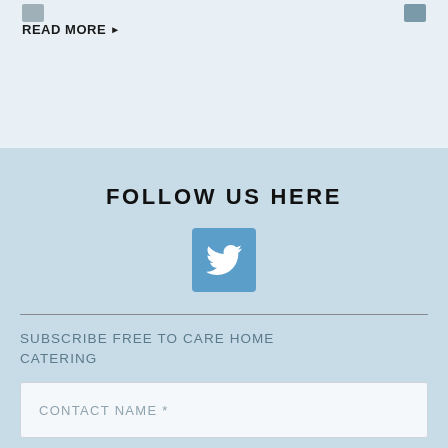READ MORE ▶
FOLLOW US HERE
[Figure (logo): Twitter bird icon in white on a blue square background]
SUBSCRIBE FREE TO CARE HOME CATERING
CONTACT NAME *